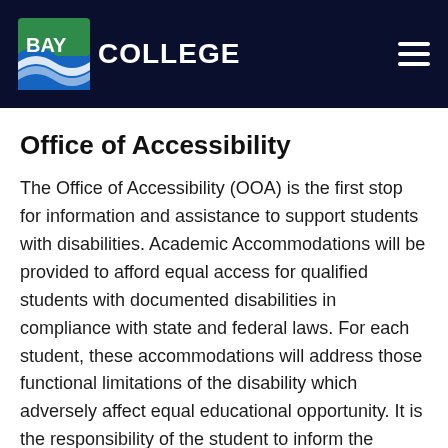BAY COLLEGE
Office of Accessibility
The Office of Accessibility (OOA) is the first stop for information and assistance to support students with disabilities. Academic Accommodations will be provided to afford equal access for qualified students with documented disabilities in compliance with state and federal laws. For each student, these accommodations will address those functional limitations of the disability which adversely affect equal educational opportunity. It is the responsibility of the student to inform the